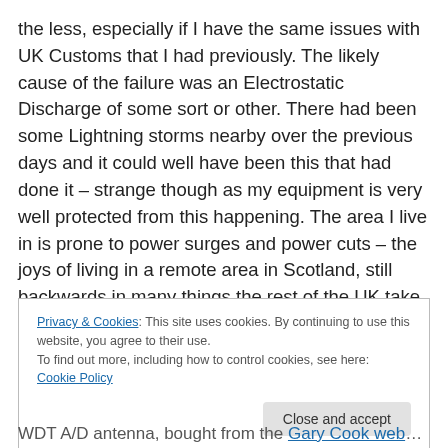the less, especially if I have the same issues with UK Customs that I had previously. The likely cause of the failure was an Electrostatic Discharge of some sort or other. There had been some Lightning storms nearby over the previous days and it could well have been this that had done it – strange though as my equipment is very well protected from this happening. The area I live in is prone to power surges and power cuts – the joys of living in a remote area in Scotland, still backwards in many things the rest of the UK take for granted.
Privacy & Cookies: This site uses cookies. By continuing to use this website, you agree to their use.
To find out more, including how to control cookies, see here: Cookie Policy
Close and accept
WDT A/D antenna, bought from the Gary Cook website!